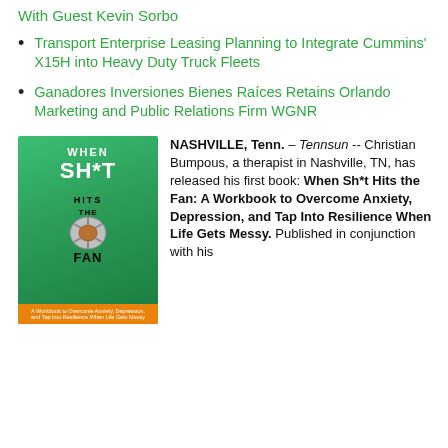With Guest Kevin Sorbo
Transport Enterprise Leasing Planning to Integrate Cummins' X15H into Heavy Duty Truck Fleets
Ganadores Inversiones Bienes Raíces Retains Orlando Marketing and Public Relations Firm WGNR
[Figure (photo): Book cover of 'When Sh*t Hits the Fan: A Workbook to Overcome Anxiety, Depression, and Tap Into Resilience When Life Gets Messy' with green background and fan image]
NASHVILLE, Tenn. – Tennsun -- Christian Bumpous, a therapist in Nashville, TN, has released his first book: When Sh*t Hits the Fan: A Workbook to Overcome Anxiety, Depression, and Tap Into Resilience When Life Gets Messy. Published in conjunction with his